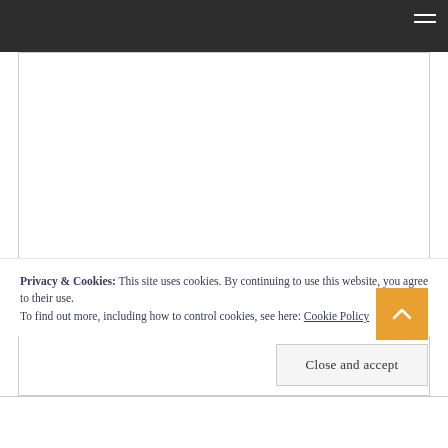[Figure (screenshot): Dark top navigation bar with hamburger menu icon (three horizontal lines) in the top-right corner]
Privacy & Cookies: This site uses cookies. By continuing to use this website, you agree to their use.
To find out more, including how to control cookies, see here: Cookie Policy
Close and accept